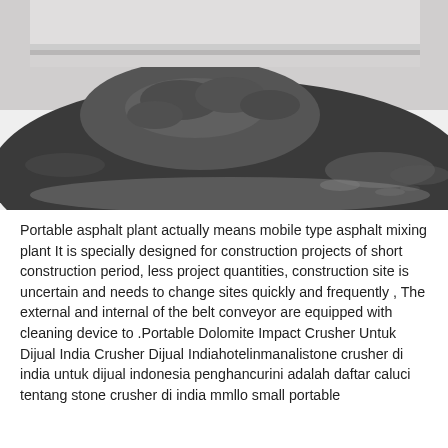[Figure (photo): A pile of dark grey/black fine powder material (asphalt or dolomite powder) on a white surface, with a white window frame visible in the background.]
Portable asphalt plant actually means mobile type asphalt mixing plant It is specially designed for construction projects of short construction period, less project quantities, construction site is uncertain and needs to change sites quickly and frequently , The external and internal of the belt conveyor are equipped with cleaning device to .Portable Dolomite Impact Crusher Untuk Dijual India Crusher Dijual Indiahotelinmanalistone crusher di india untuk dijual indonesia penghancurini adalah daftar caluci tentang stone crusher di india mmllo small portable